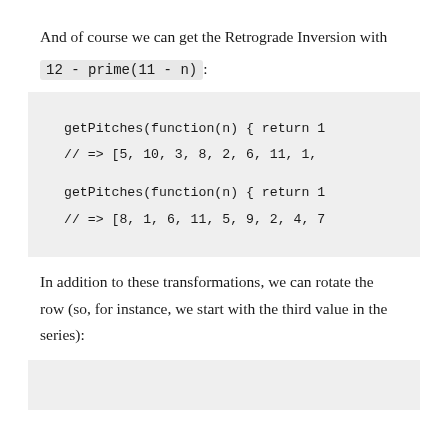And of course we can get the Retrograde Inversion with
12 - prime(11 - n):
getPitches(function(n) { return 1
// => [5, 10, 3, 8, 2, 6, 11, 1,

getPitches(function(n) { return 1
// => [8, 1, 6, 11, 5, 9, 2, 4, 7
In addition to these transformations, we can rotate the row (so, for instance, we start with the third value in the series):